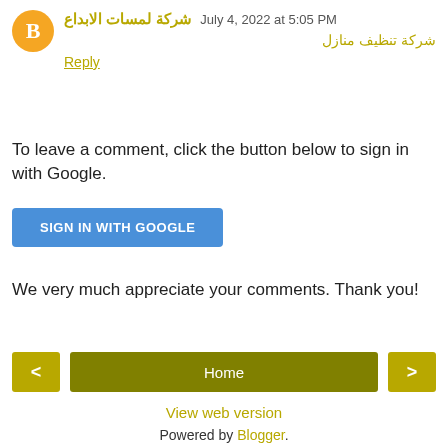شركة لمسات الابداع  July 4, 2022 at 5:05 PM
شركة تنظيف منازل
Reply
To leave a comment, click the button below to sign in with Google.
SIGN IN WITH GOOGLE
We very much appreciate your comments. Thank you!
< Home >
View web version
Powered by Blogger.